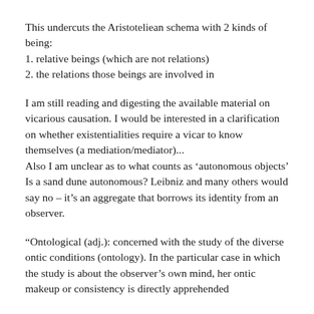This undercuts the Aristoteliean schema with 2 kinds of being:
1. relative beings (which are not relations)
2. the relations those beings are involved in
I am still reading and digesting the available material on vicarious causation. I would be interested in a clarification on whether existentialities require a vicar to know themselves (a mediation/mediator)...
Also I am unclear as to what counts as ‘autonomous objects’ Is a sand dune autonomous? Leibniz and many others would say no – it’s an aggregate that borrows its identity from an observer.
“Ontological (adj.): concerned with the study of the diverse ontic conditions (ontology). In the particular case in which the study is about the observer’s own mind, her ontic makeup or consistency is directly apprehended